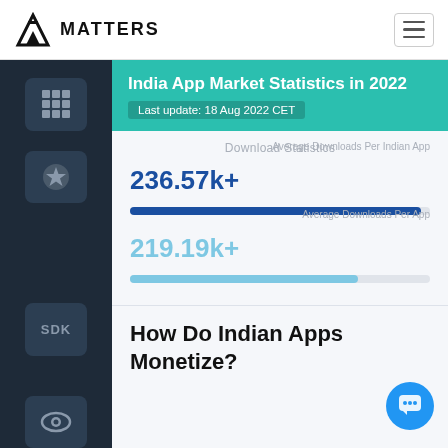42 MATTERS
India App Market Statistics in 2022
Last update: 18 Aug 2022 CET
Download Statistics
236.57k+ Average Downloads Per Indian App
219.19k+ Average Downloads Per App
How Do Indian Apps Monetize?